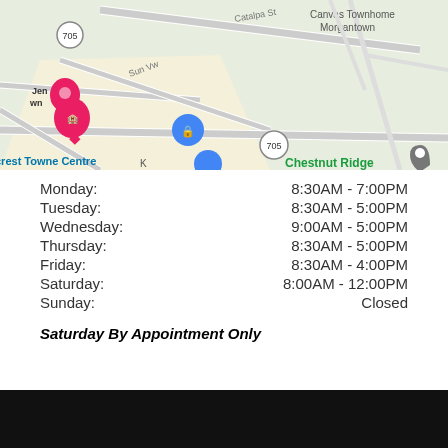[Figure (map): Google Maps screenshot showing area around Chestnut Ridge with roads including Catalpa St, Sun Vw, route 705, landmarks including Canvas Townhomes Morgantown, Heartland Homes at Autumn Ridge, and crest Towne Centre]
Monday: 8:30AM - 7:00PM
Tuesday: 8:30AM - 5:00PM
Wednesday: 9:00AM - 5:00PM
Thursday: 8:30AM - 5:00PM
Friday: 8:30AM - 4:00PM
Saturday: 8:00AM - 12:00PM
Sunday: Closed
Saturday By Appointment Only